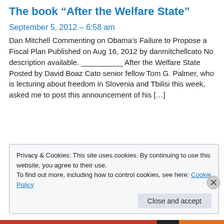The book “After the Welfare State”
September 5, 2012 – 6:58 am
Dan Mitchell Commenting on Obama’s Failure to Propose a Fiscal Plan Published on Aug 16, 2012 by danmitchellcato No description available. __________ After the Welfare State Posted by David Boaz Cato senior fellow Tom G. Palmer, who is lecturing about freedom in Slovenia and Tbilisi this week, asked me to post this announcement of his […]
Privacy & Cookies: This site uses cookies. By continuing to use this website, you agree to their use.
To find out more, including how to control cookies, see here: Cookie Policy